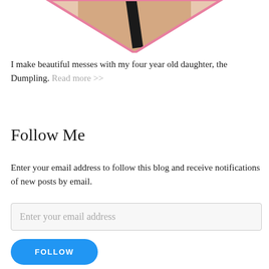[Figure (photo): Partial photo in a diamond/triangle shape with pink border — bottom portion visible at top of page, showing a person and dark object against a light background.]
I make beautiful messes with my four year old daughter, the Dumpling. Read more >>
Follow Me
Enter your email address to follow this blog and receive notifications of new posts by email.
Enter your email address
FOLLOW